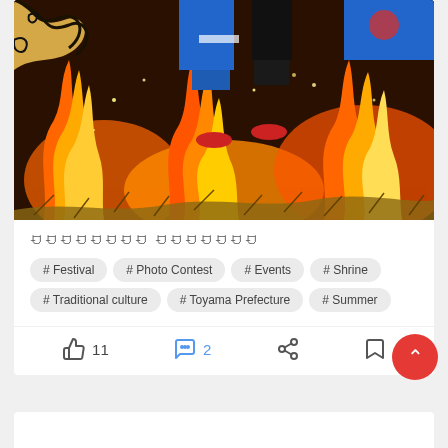[Figure (photo): Festival fire-walking ceremony: person in colorful traditional costume with blue garment walking through large open flames, with fire sparks and embers visible]
ꀀꀀꀀꀀꀀꀀꀀꀀ ꀀꀀꀀꀀꀀꀀꀀ
# Festival
# Photo Contest
# Events
# Shrine
# Traditional culture
# Toyama Prefecture
# Summer
11
2